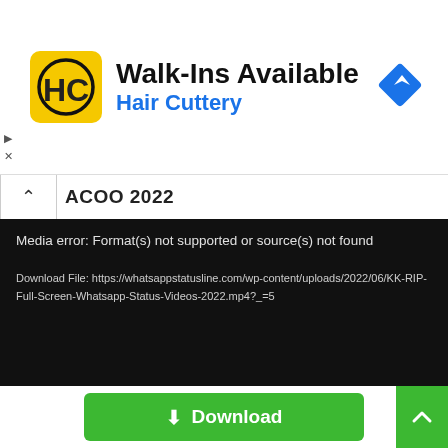[Figure (screenshot): Advertisement banner for Hair Cuttery salon. Shows Hair Cuttery logo (HC in yellow circle), text 'Walk-Ins Available' and 'Hair Cuttery', and a blue navigation/directions diamond icon on the right. Small play and close controls at left.]
ACOO 2022
Media error: Format(s) not supported or source(s) not found

Download File: https://whatsappstatusline.com/wp-content/uploads/2022/06/KK-RIP-Full-Screen-Whatsapp-Status-Videos-2022.mp4?_=5
KK RIP Full Screen Whatsapp Status Videos 2022 Download, KK RIP Full Screen HD Video 2022
⬇ Download